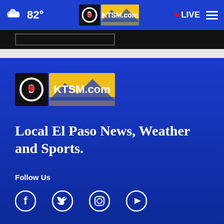82° KTSM.com LIVE
[Figure (logo): KTSM.com logo in footer - channel 9 NBC affiliate logo with mountain background]
Local El Paso News, Weather and Sports.
Follow Us
[Figure (infographic): Social media icons: Facebook, Twitter, Instagram, YouTube]
News App